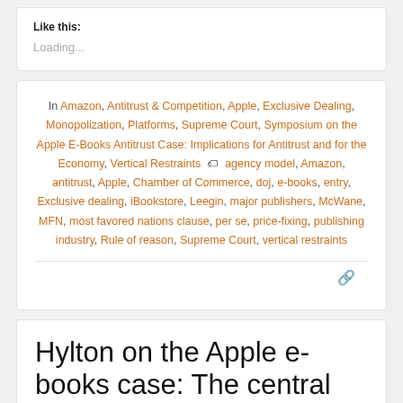Like this:
Loading...
In Amazon, Antitrust & Competition, Apple, Exclusive Dealing, Monopolization, Platforms, Supreme Court, Symposium on the Apple E-Books Antitrust Case: Implications for Antitrust and for the Economy, Vertical Restraints  agency model, Amazon, antitrust, Apple, Chamber of Commerce, doj, e-books, entry, Exclusive dealing, iBookstore, Leegin, major publishers, McWane, MFN, most favored nations clause, per se, price-fixing, publishing industry, Rule of reason, Supreme Court, vertical restraints
Hylton on the Apple e-books case: The central importance of